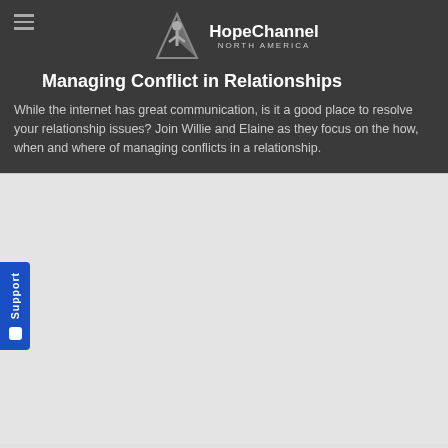Managing Conflict in Relationships
[Figure (logo): Hope Channel North America logo with stylized person icon]
While the internet has great communication, is it a good place to resolve your relationship issues? Join Willie and Elaine as they focus on the how, when and where of managing conflicts in a relationship.
[Figure (other): Gray content area / video embed placeholder with Support tab on left side]